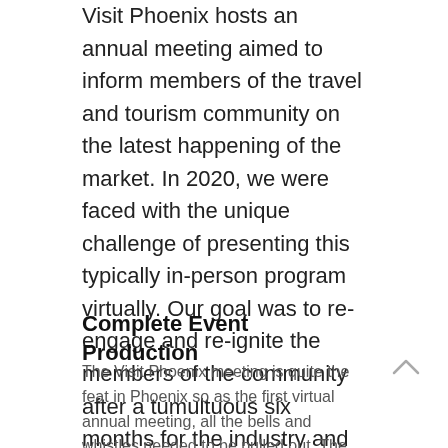Visit Phoenix hosts an annual meeting aimed to inform members of the travel and tourism community on the latest happening of the market. In 2020, we were faced with the unique challenge of presenting this typically in-person program virtually. Our goal was to re-engage and re-ignite the members of the community after a tumultuous six months for the industry and provide information to help get their businesses on the road to recovery.
Complete Event Production
The Visit Phoenix meeting is quite the feat in Phoenix so as the first virtual annual meeting, all the bells and whistles needed to be pulled out. The Orpheum Theater is a historic theater in the Downtown Phoenix area with an exquisite